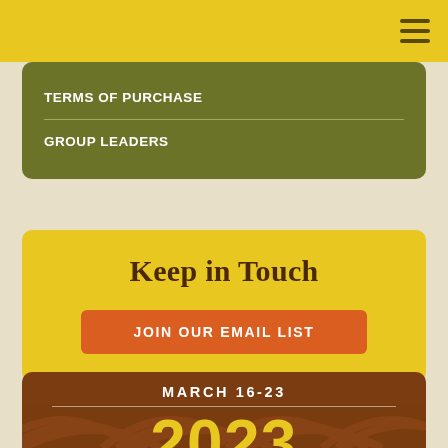TERMS OF PURCHASE
GROUP LEADERS
Keep in Touch
JOIN OUR EMAIL LIST
MARCH 16-23
2023